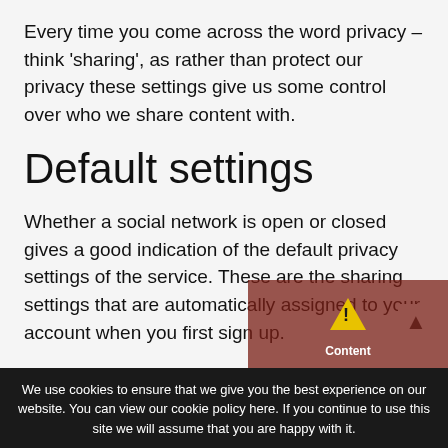Every time you come across the word privacy – think 'sharing', as rather than protect our privacy these settings give us some control over who we share content with.
Default settings
Whether a social network is open or closed gives a good indication of the default privacy settings of the service. These are the sharing settings that are automatically assigned to your account when you first sign up.
We use cookies to ensure that we give you the best experience on our website. You can view our cookie policy here. If you continue to use this site we will assume that you are happy with it.